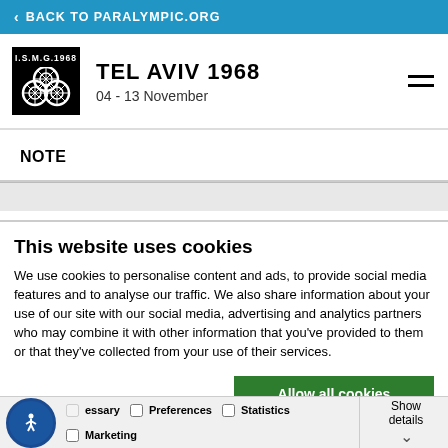< BACK TO PARALYMPIC.ORG
TEL AVIV 1968
04 - 13 November
NOTE
This website uses cookies
We use cookies to personalise content and ads, to provide social media features and to analyse our traffic. We also share information about your use of our site with our social media, advertising and analytics partners who may combine it with other information that you've provided to them or that they've collected from your use of their services.
Allow all cookies | Allow selection | Use necessary cookies
essary  Preferences  Statistics  Show details  Marketing